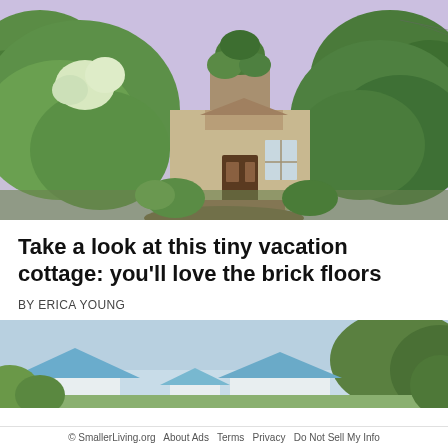[Figure (photo): Exterior photo of a small cottage-style house surrounded by lush green trees and bushes, with a peaked roof covered in vines, a dark wooden front door, brick pathway, and light purple sky in the background.]
Take a look at this tiny vacation cottage: you'll love the brick floors
BY ERICA YOUNG
[Figure (photo): Exterior photo of white buildings with blue metal roofs surrounded by green trees under a light blue sky, partially cropped.]
© SmallerLiving.org  About Ads  Terms  Privacy  Do Not Sell My Info